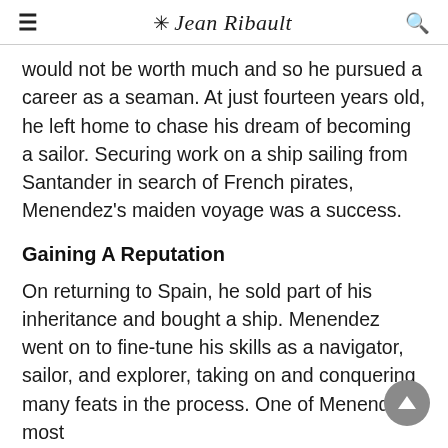Jean Ribault
would not be worth much and so he pursued a career as a seaman. At just fourteen years old, he left home to chase his dream of becoming a sailor. Securing work on a ship sailing from Santander in search of French pirates, Menendez's maiden voyage was a success.
Gaining A Reputation
On returning to Spain, he sold part of his inheritance and bought a ship. Menendez went on to fine-tune his skills as a navigator, sailor, and explorer, taking on and conquering many feats in the process. One of Menendez's most